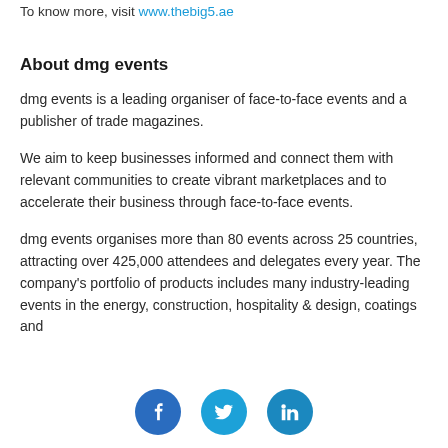To know more, visit www.thebig5.ae
About dmg events
dmg events is a leading organiser of face-to-face events and a publisher of trade magazines.
We aim to keep businesses informed and connect them with relevant communities to create vibrant marketplaces and to accelerate their business through face-to-face events.
dmg events organises more than 80 events across 25 countries, attracting over 425,000 attendees and delegates every year. The company's portfolio of products includes many industry-leading events in the energy, construction, hospitality & design, coatings and
[Figure (illustration): Three social media icon circles at the bottom: Facebook (blue, f), Twitter (light blue, bird), LinkedIn (blue, in)]